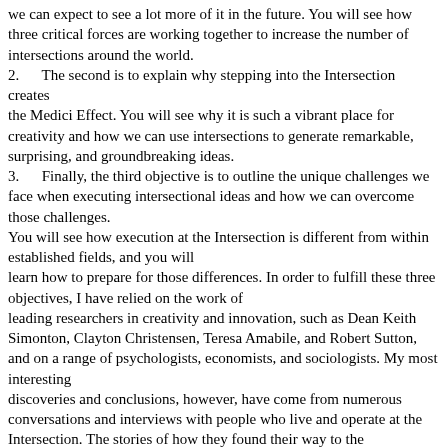we can expect to see a lot more of it in the future. You will see how three critical forces are working together to increase the number of intersections around the world.
2.      The second is to explain why stepping into the Intersection creates the Medici Effect. You will see why it is such a vibrant place for creativity and how we can use intersections to generate remarkable, surprising, and groundbreaking ideas.
3.      Finally, the third objective is to outline the unique challenges we face when executing intersectional ideas and how we can overcome those challenges.
You will see how execution at the Intersection is different from within established fields, and you will learn how to prepare for those differences. In order to fulfill these three objectives, I have relied on the work of leading researchers in creativity and innovation, such as Dean Keith Simonton, Clayton Christensen, Teresa Amabile, and Robert Sutton, and on a range of psychologists, economists, and sociologists. My most interesting discoveries and conclusions, however, have come from numerous conversations and interviews with people who live and operate at the Intersection. The stories of how they found their way to the Intersection, and how they created the Medici Effect, contain enough surprises and valuable insights to easily fill two or three books.
You will, for instance, meet a mathematician from Seattle who stepped into the intersection of games and collectibles to create one of the worldâ€™s fastest-spreading recreational activities. You wil